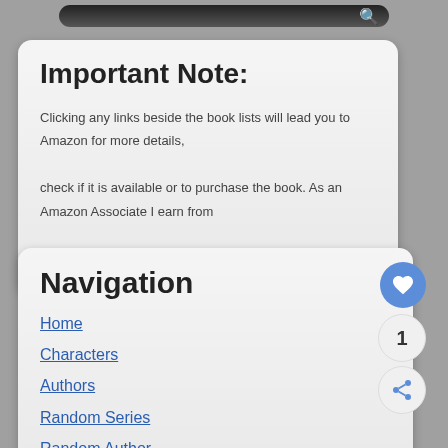[Figure (screenshot): Search bar at top of page]
Important Note:
Clicking any links beside the book lists will lead you to Amazon for more details, check if it is available or to purchase the book. As an Amazon Associate I earn from qualifying purchases.
Navigation
Home
Characters
Authors
Random Series
Random Author